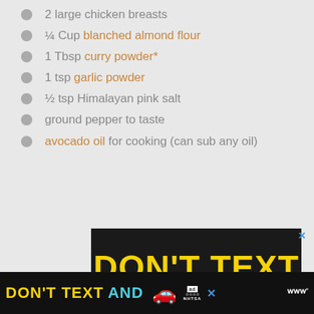2 large chicken breasts
¼ Cup blanched almond flour
1 Tbsp curry powder*
1 tsp garlic powder
½ tsp Himalayan pink salt
ground pepper to taste
avocado oil for cooking (can sub any oil)
[Figure (screenshot): Advertisement banner showing DON'T TEXT AND [car emoji] text with NHTSA branding on black background]